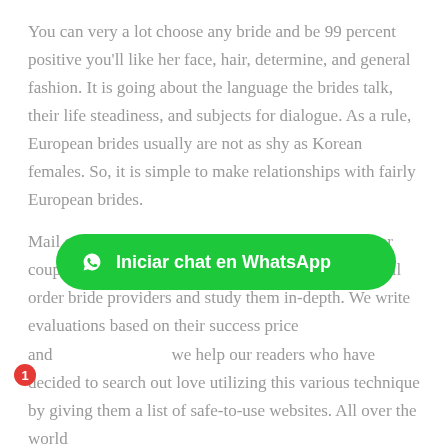You can very a lot choose any bride and be 99 percent positive you'll like her face, hair, determine, and general fashion. It is going about the language the brides talk, their life steadiness, and subjects for dialogue. As a rule, European brides usually are not as shy as Korean females. So, it is simple to make relationships with fairly European brides.
Mail order brides websites receives a commission per couple that types on their website. We locate such mail order bride providers and study them in-depth. We write evaluations based on their success price and we help our readers who have decided to search out love utilizing this various technique by giving them a list of safe-to-use websites. All over the world
[Figure (other): Green WhatsApp chat button with text 'Iniciar chat en WhatsApp' and a red notification badge showing '1']